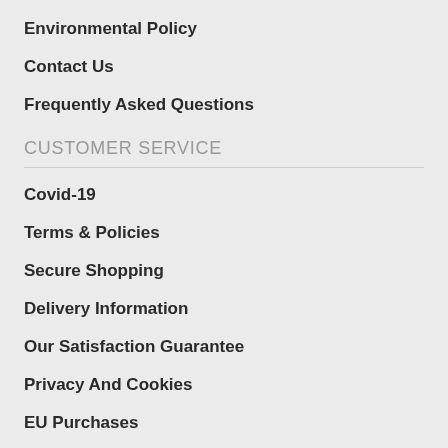Environmental Policy
Contact Us
Frequently Asked Questions
CUSTOMER SERVICE
Covid-19
Terms & Policies
Secure Shopping
Delivery Information
Our Satisfaction Guarantee
Privacy And Cookies
EU Purchases
MY ACCOUNT
My Account